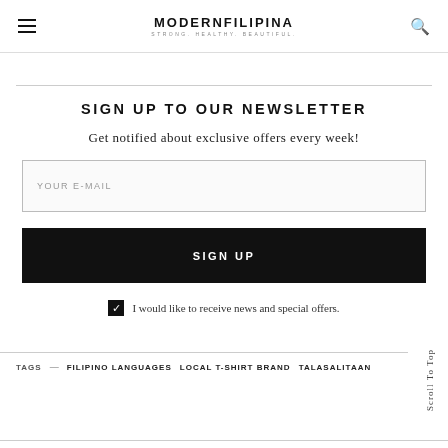MODERNFILIPINA — STRONG. HEALTHY. BEAUTIFUL.
SIGN UP TO OUR NEWSLETTER
Get notified about exclusive offers every week!
YOUR E-MAIL
SIGN UP
I would like to receive news and special offers.
TAGS — FILIPINO LANGUAGES   LOCAL T-SHIRT BRAND   TALASALITAAN
Scroll To Top